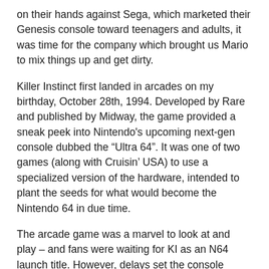on their hands against Sega, which marketed their Genesis console toward teenagers and adults, it was time for the company which brought us Mario to mix things up and get dirty.
Killer Instinct first landed in arcades on my birthday, October 28th, 1994. Developed by Rare and published by Midway, the game provided a sneak peek into Nintendo's upcoming next-gen console dubbed the "Ultra 64". It was one of two games (along with Cruisin' USA) to use a specialized version of the hardware, intended to plant the seeds for what would become the Nintendo 64 in due time.
The arcade game was a marvel to look at and play – and fans were waiting for KI as an N64 launch title. However, delays set the console launch back, and thus, Nintendo surprised everyone by released Killer Instinct on the SNES.